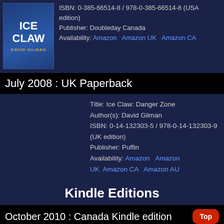[Figure (illustration): Book cover for Ice Claw by David Gilman, dark blue background with bold white title text and gold author name]
ISBN: 0-385-66514-8 / 978-0-385-66514-8 (USA edition)
Publisher: Doubleday Canada
Availability: Amazon   Amazon UK   Amazon CA
July 2008 : UK Paperback
Title: Ice Claw: Danger Zone
Author(s): David Gilman
ISBN: 0-14-132303-5 / 978-0-14-132303-9 (UK edition)
Publisher: Puffin
Availability: Amazon   Amazon UK   Amazon CA   Amazon AU
Kindle Editions
October 2010 : Canada Kindle edition
Title: Ice Claw: Danger Zone Africa